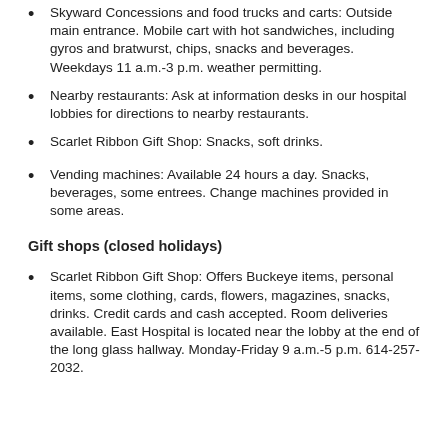Skyward Concessions and food trucks and carts: Outside main entrance. Mobile cart with hot sandwiches, including gyros and bratwurst, chips, snacks and beverages. Weekdays 11 a.m.-3 p.m. weather permitting.
Nearby restaurants: Ask at information desks in our hospital lobbies for directions to nearby restaurants.
Scarlet Ribbon Gift Shop: Snacks, soft drinks.
Vending machines: Available 24 hours a day. Snacks, beverages, some entrees. Change machines provided in some areas.
Gift shops (closed holidays)
Scarlet Ribbon Gift Shop: Offers Buckeye items, personal items, some clothing, cards, flowers, magazines, snacks, drinks. Credit cards and cash accepted. Room deliveries available. East Hospital is located near the lobby at the end of the long glass hallway. Monday-Friday 9 a.m.-5 p.m. 614-257-2032.